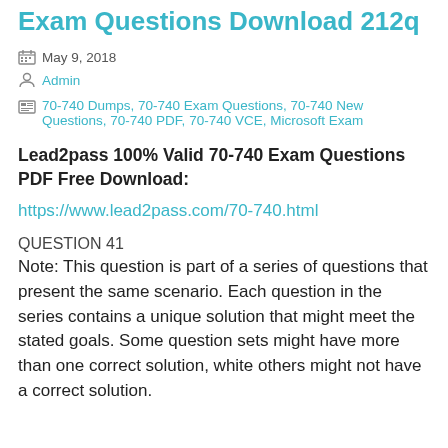Exam Questions Download 212q
May 9, 2018
Admin
70-740 Dumps, 70-740 Exam Questions, 70-740 New Questions, 70-740 PDF, 70-740 VCE, Microsoft Exam
Lead2pass 100% Valid 70-740 Exam Questions PDF Free Download:
https://www.lead2pass.com/70-740.html
QUESTION 41
Note: This question is part of a series of questions that present the same scenario. Each question in the series contains a unique solution that might meet the stated goals. Some question sets might have more than one correct solution, white others might not have a correct solution.